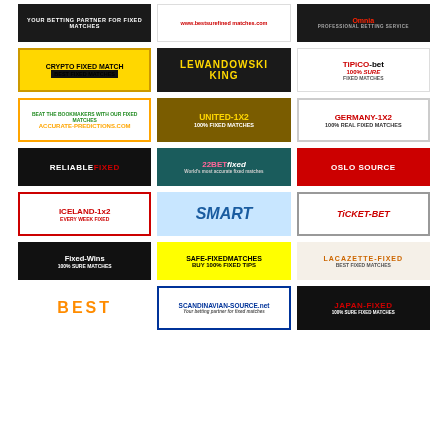[Figure (infographic): Grid of betting/fixed matches advertisement banners arranged in 7 rows of 3 columns each. Includes brands such as Crypto Fixed Match, Lewandowski King, Tipico-bet, Accurate-Predictions.com, United-1X2, Germany-1X2, ReliableFixed, 22BetFixed, Oslo Source, Iceland-1x2, Smart, Ticket-Bet, Fixed-Wins, Safe-FixedMatches, Lacazette-Fixed, Best, Scandinavian-Source.net, Japan-Fixed.]